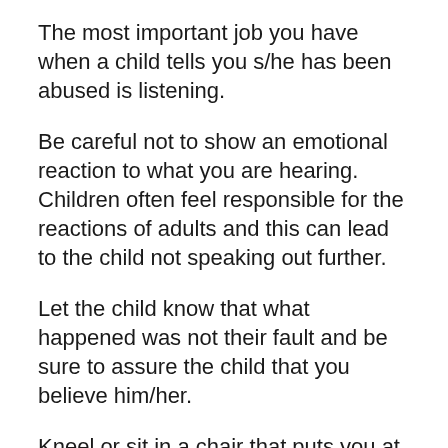The most important job you have when a child tells you s/he has been abused is listening.
Be careful not to show an emotional reaction to what you are hearing. Children often feel responsible for the reactions of adults and this can lead to the child not speaking out further.
Let the child know that what happened was not their fault and be sure to assure the child that you believe him/her.
Kneel or sit in a chair that puts you at the child's eye level and let him or her tell you as much as they wish to tell you.
Do not question the child; it may interfere with